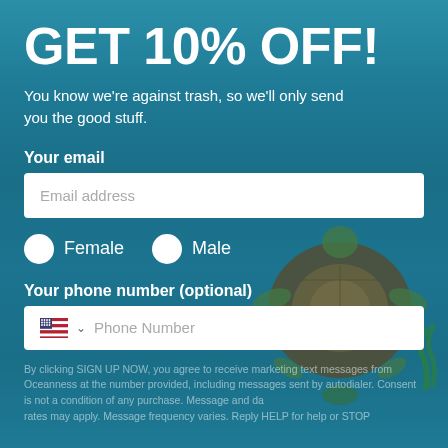GET 10% OFF!
You know we're against trash, so we'll only send you the good stuff.
Your email
Email address
Female   Male
Your phone number (optional)
Phone Number
By clicking SIGN UP NOW, you agree to receive marketing text messages from Oceanness at the number provided, including messages sent by autodialer. Consent is not a condition of any purchase. Message and data rates may apply. Message frequency varies. Reply HELP for help or STOP